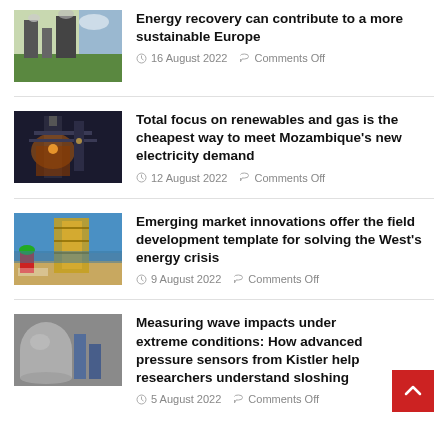[Figure (photo): Industrial facility with green vegetation, smokestacks in background]
Energy recovery can contribute to a more sustainable Europe
16 August 2022   Comments Off
[Figure (photo): Industrial tower or refinery structure at night/dusk with orange lighting]
Total focus on renewables and gas is the cheapest way to meet Mozambique's new electricity demand
12 August 2022   Comments Off
[Figure (photo): Worker in red jacket and green helmet looking at industrial equipment, oil/gas field site]
Emerging market innovations offer the field development template for solving the West's energy crisis
9 August 2022   Comments Off
[Figure (photo): Large industrial pressure vessels or tanks in an industrial setting]
Measuring wave impacts under extreme conditions: How advanced pressure sensors from Kistler help researchers understand sloshing
5 August 2022   Comments Off